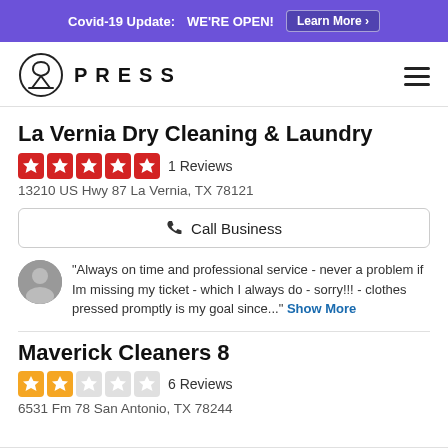Covid-19 Update: WE'RE OPEN! Learn More ›
[Figure (logo): Press dry cleaning logo with hanger icon and PRESS text]
La Vernia Dry Cleaning & Laundry
1 Reviews
13210 US Hwy 87 La Vernia, TX 78121
Call Business
"Always on time and professional service - never a problem if Im missing my ticket - which I always do - sorry!!! - clothes pressed promptly is my goal since..." Show More
Maverick Cleaners 8
6 Reviews
6531 Fm 78 San Antonio, TX 78244